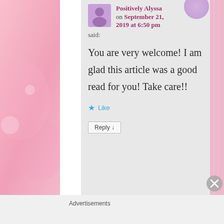Positively Alyssa on September 21, 2019 at 6:50 pm said:
You are very welcome! I am glad this article was a good read for you! Take care!!
Like
Reply ↓
Advertisements